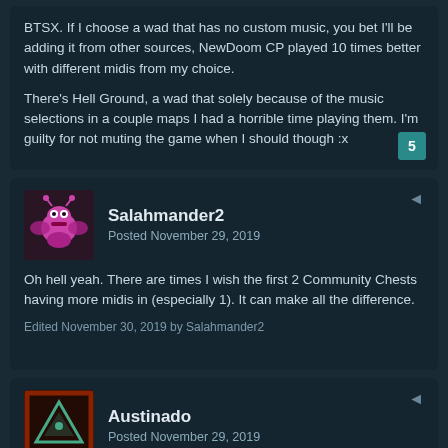BTSX. If I choose a wad that has no custom music, you bet I'll be adding it from other sources, NewDoom CP played 10 times better with different midis from my choice.
There's Hell Ground, a wad that solely because of the music selections in a couple maps I had a horrible time playing them. I'm guilty for not muting the game when I should though :x
Salahmander2
Posted November 29, 2019
Oh hell yeah. There are times I wish the first 2 Community Chests having more midis in (especially 1). It can make all the difference.
Edited November 30, 2019 by Salahmander2
Austinado
Posted November 29, 2019